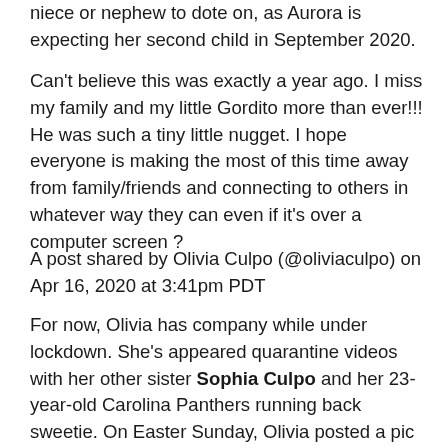niece or nephew to dote on, as Aurora is expecting her second child in September 2020.
Can't believe this was exactly a year ago. I miss my family and my little Gordito more than ever!!! He was such a tiny little nugget. I hope everyone is making the most of this time away from family/friends and connecting to others in whatever way they can even if it's over a computer screen ?
A post shared by Olivia Culpo (@oliviaculpo) on Apr 16, 2020 at 3:41pm PDT
For now, Olivia has company while under lockdown. She's appeared quarantine videos with her other sister Sophia Culpo and her 23-year-old Carolina Panthers running back sweetie. On Easter Sunday, Olivia posted a pic sitting on Christian's lap while he wore a pink Easter bunny mask. She captioned it, "Some bunny loves you," while he went in the caption predicting that we applied...